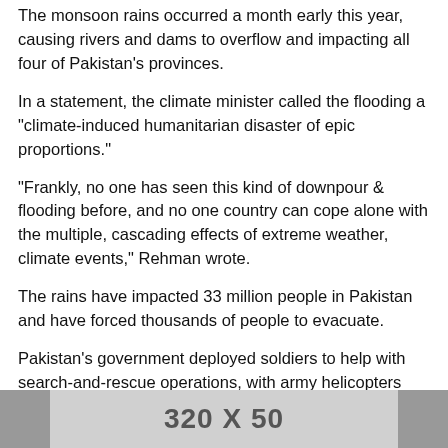The monsoon rains occurred a month early this year, causing rivers and dams to overflow and impacting all four of Pakistan's provinces.
In a statement, the climate minister called the flooding a "climate-induced humanitarian disaster of epic proportions."
"Frankly, no one has seen this kind of downpour & flooding before, and no one country can cope alone with the multiple, cascading effects of extreme weather, climate events," Rehman wrote.
The rains have impacted 33 million people in Pakistan and have forced thousands of people to evacuate.
Pakistan's government deployed soldiers to help with search-and-rescue operations, with army helicopters airlifting people to safety.
Copyright © 2022, ABC Audio. All rights reserved.
[Figure (other): Advertisement banner placeholder showing '320 X 50']